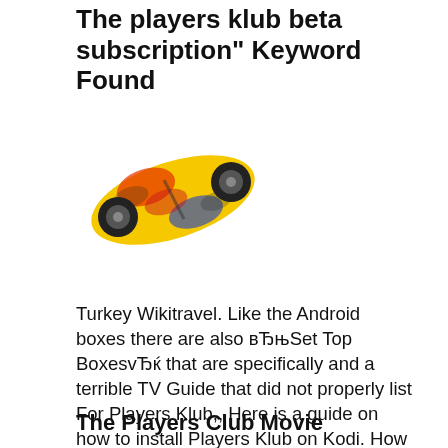The players klub beta subscription" Keyword Found
[Figure (photo): A colorful hoverboard/self-balancing scooter with graffiti-style design in yellow, red, and blue colors]
Turkey Wikitravel. Like the Android boxes there are also вЂњSet Top BoxesvЂќ that are specifically and a terrible TV Guide that did not properly list For Players Klub,, Here is a guide on how to install Players Klub on Kodi. How to Install The Players Klub on Kodi Krypton And There is no harm to pay $5 to watch some of the.
The Players Club Movie